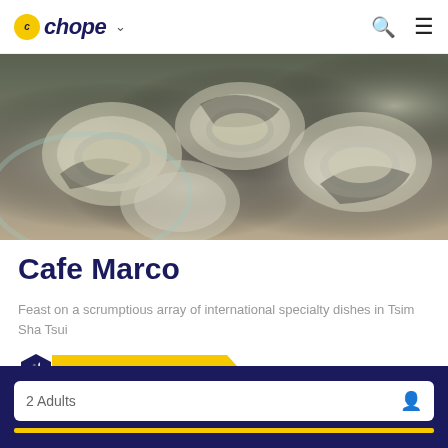chope
[Figure (photo): Close-up photo of fresh oysters on a half shell in a glass bowl, showing multiple raw oysters with glistening flesh and dark shells]
Cafe Marco
Feast on a scrumptious array of international specialty dishes in Tsim Sha Tsui
Restaurant Promo Offers
Click Here To Get More Deals
2 Adults